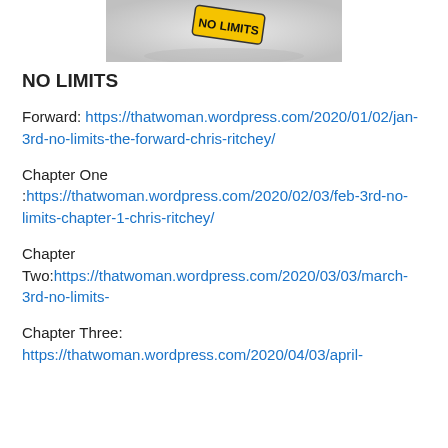[Figure (photo): Photo of a yellow 'No Limits' sign/badge on a light background, partially cropped at top]
NO LIMITS
Forward: https://thatwoman.wordpress.com/2020/01/02/jan-3rd-no-limits-the-forward-chris-ritchey/
Chapter One :https://thatwoman.wordpress.com/2020/02/03/feb-3rd-no-limits-chapter-1-chris-ritchey/
Chapter Two:https://thatwoman.wordpress.com/2020/03/03/march-3rd-no-limits-
Chapter Three: https://thatwoman.wordpress.com/2020/04/03/april-